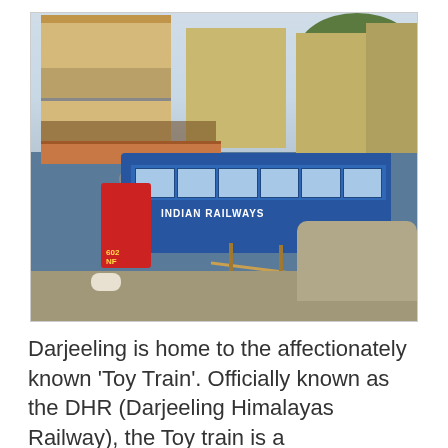[Figure (photo): A blue Indian Railways diesel locomotive (numbered 602 NF) known as the Darjeeling Himalayan Railway 'Toy Train' passing through a narrow street flanked by multi-story buildings. A white dog is visible in the foreground. Wooden fence poles line the right side of the track.]
Darjeeling is home to the affectionately known 'Toy Train'. Officially known as the DHR (Darjeeling Himalayas Railway), the Toy train is a quintessential part of Darjeeling's...